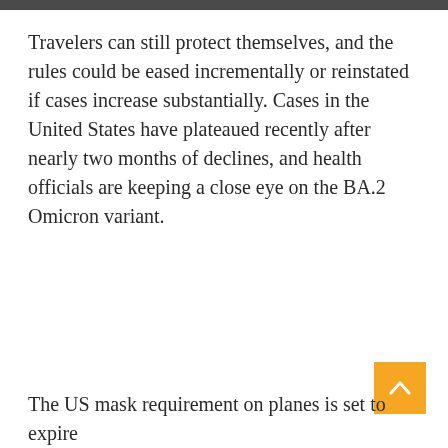Travelers can still protect themselves, and the rules could be eased incrementally or reinstated if cases increase substantially. Cases in the United States have plateaued recently after nearly two months of declines, and health officials are keeping a close eye on the BA.2 Omicron variant.
The US mask requirement on planes is set to expire